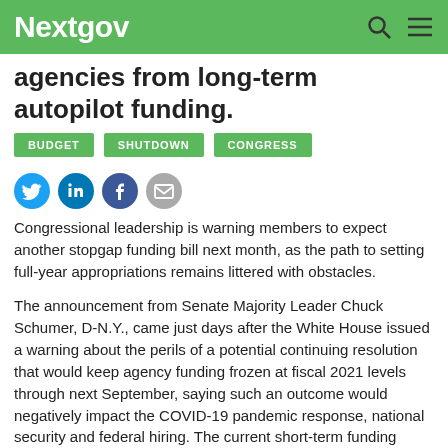Nextgov
agencies from long-term autopilot funding.
BUDGET
SHUTDOWN
CONGRESS
[Figure (infographic): Social share icons: Twitter, LinkedIn, Facebook, Email]
Congressional leadership is warning members to expect another stopgap funding bill next month, as the path to setting full-year appropriations remains littered with obstacles.
The announcement from Senate Majority Leader Chuck Schumer, D-N.Y., came just days after the White House issued a warning about the perils of a potential continuing resolution that would keep agency funding frozen at fiscal 2021 levels through next September, saying such an outcome would negatively impact the COVID-19 pandemic response, national security and federal hiring. The current short-term funding measure is set to expire Dec. 3.